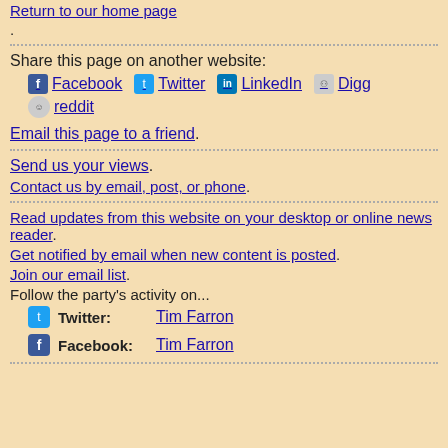Return to our home page.
Share this page on another website:
Facebook
Twitter
LinkedIn
Digg
reddit
Email this page to a friend.
Send us your views.
Contact us by email, post, or phone.
Read updates from this website on your desktop or online news reader.
Get notified by email when new content is posted.
Join our email list.
Follow the party's activity on...
Twitter: Tim Farron
Facebook: Tim Farron